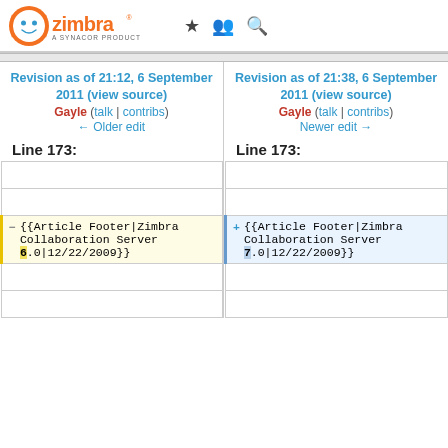Zimbra - A Synacor Product
Revision as of 21:12, 6 September 2011 (view source)
Gayle (talk | contribs)
← Older edit
Revision as of 21:38, 6 September 2011 (view source)
Gayle (talk | contribs)
Newer edit →
Line 173:
Line 173:
|  | {{Article Footer|Zimbra Collaboration Server 6.0|12/22/2009}} |  | {{Article Footer|Zimbra Collaboration Server 7.0|12/22/2009}} |